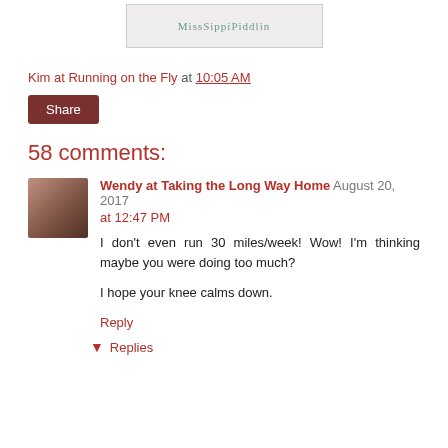[Figure (photo): Blog image banner showing 'MissSippiPiddlin' text on a light background]
Kim at Running on the Fly at 10:05 AM
Share
58 comments:
Wendy at Taking the Long Way Home  August 20, 2017 at 12:47 PM
I don't even run 30 miles/week! Wow! I'm thinking maybe you were doing too much?

I hope your knee calms down.
Reply
Replies